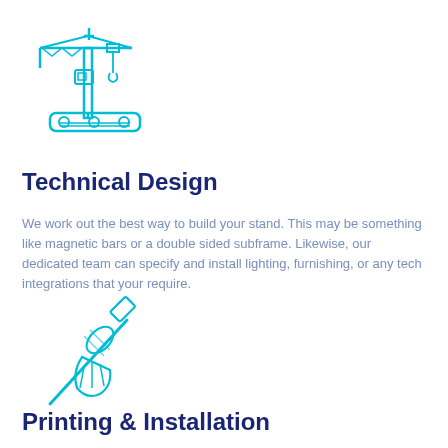[Figure (illustration): Teal/cyan line-art icon of a construction crane with a trolley and hook, positioned above equipment]
Technical Design
We work out the best way to build your stand. This may be something like magnetic bars or a double sided subframe. Likewise, our dedicated team can specify and install lighting, furnishing, or any tech integrations that your require.
[Figure (illustration): Teal/cyan line-art icon of a paint brush or roller brush]
Printing & Installation